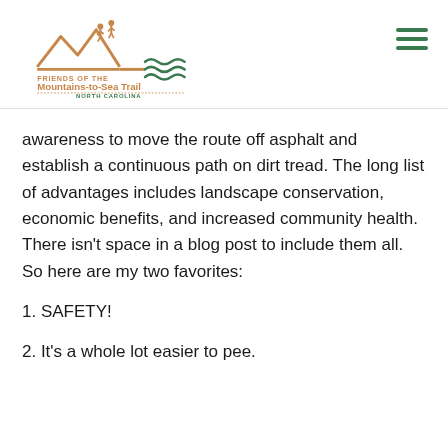[Figure (logo): Friends of the Mountains-to-Sea Trail, North Carolina logo with mountain and wave graphic]
awareness to move the route off asphalt and establish a continuous path on dirt tread. The long list of advantages includes landscape conservation, economic benefits, and increased community health. There isn't space in a blog post to include them all. So here are my two favorites:
1. SAFETY!
2. It's a whole lot easier to pee.